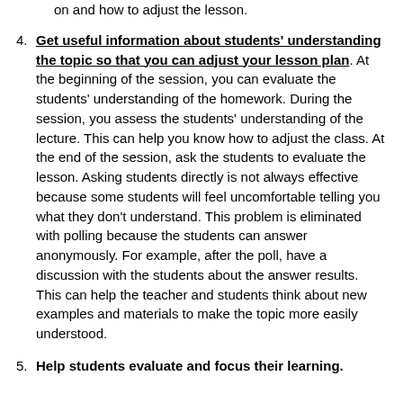on and how to adjust the lesson.
4. Get useful information about students' understanding the topic so that you can adjust your lesson plan.  At the beginning of the session, you can evaluate the students' understanding of the homework.    During the session, you assess the students' understanding of the lecture.  This can help you know how to adjust the class.  At the end of the session, ask the students to evaluate the lesson.  Asking students directly is not always effective because some students will feel uncomfortable telling you what they don't understand.  This problem is eliminated with polling because the students can answer anonymously. For example, after the poll, have a discussion with the students about the answer results.   This  can help the teacher and students think about new examples and materials to make the topic more easily understood.
5. Help students evaluate and focus their learning.